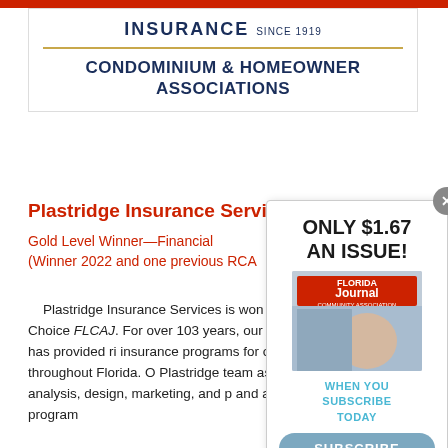[Figure (logo): Insurance company logo with text 'INSURANCE SINCE 1919' and gold divider line]
CONDOMINIUM & HOMEOWNER ASSOCIATIONS
Plastridge Insurance Services
Gold Level Winner—Financial (Winner 2022 and one previous RCA)
Plastridge Insurance Services is won the Gold Level Readers' Choice FLCAJ. For over 103 years, our condominium association division has provided risk insurance programs for over 1000 community associations throughout Florida. Our Plastridge team assists clients in mitigation analysis, design, marketing, and placement and alternative risk financing programs specific to
[Figure (other): Subscription popup overlay: ONLY $1.67 AN ISSUE! with magazine cover image showing person in mask, WHEN YOU SUBSCRIBE TODAY text, and SUBSCRIBE button]